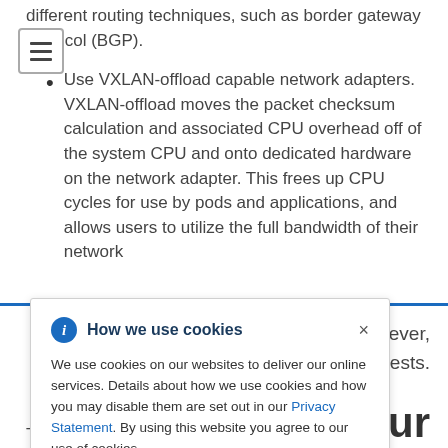different routing techniques, such as border gateway protocol (BGP).
Use VXLAN-offload capable network adapters. VXLAN-offload moves the packet checksum calculation and associated CPU overhead off of the system CPU and onto dedicated hardware on the network adapter. This frees up CPU cycles for use by pods and applications, and allows users to utilize the full bandwidth of their network
[Figure (infographic): Cookie consent popup overlay with info icon, title 'How we use cookies', close button X, and body text about cookie usage with a Privacy Statement link]
However, tests.
your
The next text is not shown as it is cut off